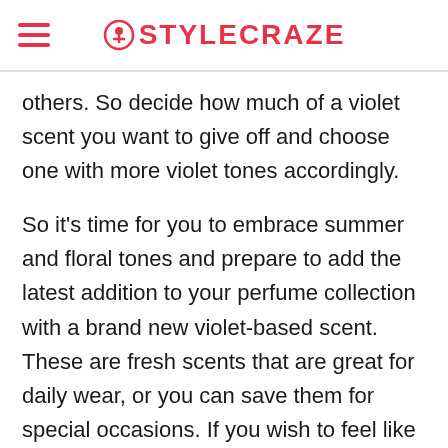STYLECRAZE
others. So decide how much of a violet scent you want to give off and choose one with more violet tones accordingly.
So it’s time for you to embrace summer and floral tones and prepare to add the latest addition to your perfume collection with a brand new violet-based scent. These are fresh scents that are great for daily wear, or you can save them for special occasions. If you wish to feel like living like Queen Victoria, then this is a must-buy for you. This is a classy and traditional scent that you can never go wrong with, and if violets are your favorite go-to flower, then this is the way you can now embody the fragrance and